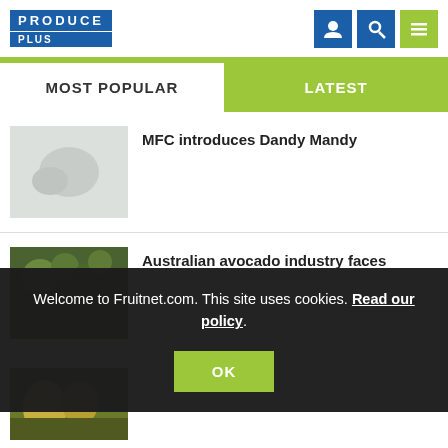PRODUCE PLUS
MOST POPULAR
LATEST
MFC introduces Dandy Mandy
[Figure (photo): Thumbnail placeholder image for MFC article]
Australian avocado industry faces
[Figure (photo): Avocado fruit on tree thumbnail]
[Figure (photo): Yellow/green fruit thumbnail]
Welcome to Fruitnet.com. This site uses cookies. Read our policy.
OK